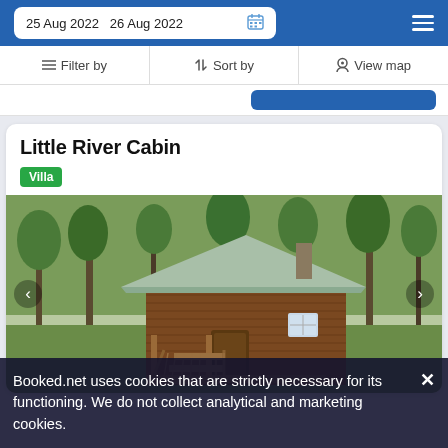25 Aug 2022  26 Aug 2022
Filter by  Sort by  View map
Little River Cabin
Villa
[Figure (photo): A wooden log cabin with a metal roof and front porch/stairs, surrounded by trees and green hillside]
Booked.net uses cookies that are strictly necessary for its functioning. We do not collect analytical and marketing cookies.